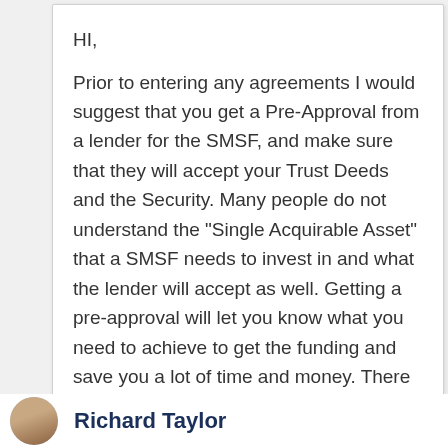HI,
Prior to entering any agreements I would suggest that you get a Pre-Approval from a lender for the SMSF, and make sure that they will accept your Trust Deeds and the Security. Many people do not understand the "Single Acquirable Asset" that a SMSF needs to invest in and what the lender will accept as well. Getting a pre-approval will let you know what you need to achieve to get the funding and save you a lot of time and money. There are companies out there who have pre-approved Trust Deeds.
Cheers Grant
Richard Taylor